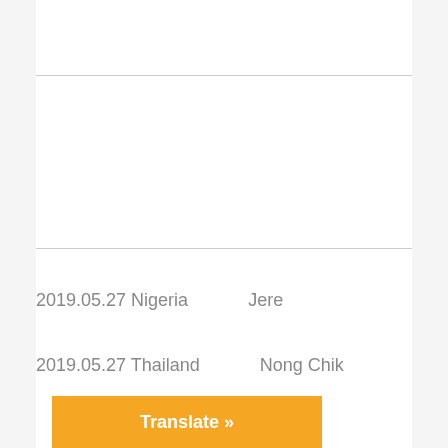2019.05.27 Nigeria    Jere
2019.05.27 Thailand    Nong Chik
Translate »